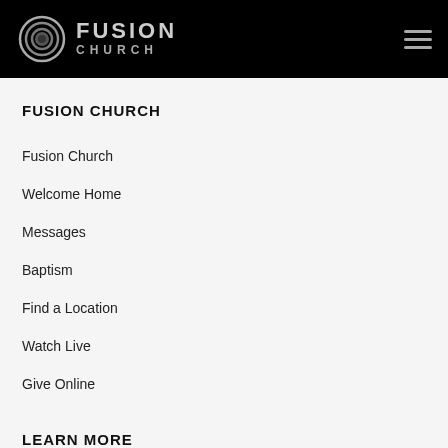FUSION CHURCH
FUSION CHURCH
Fusion Church
Welcome Home
Messages
Baptism
Find a Location
Watch Live
Give Online
LEARN MORE